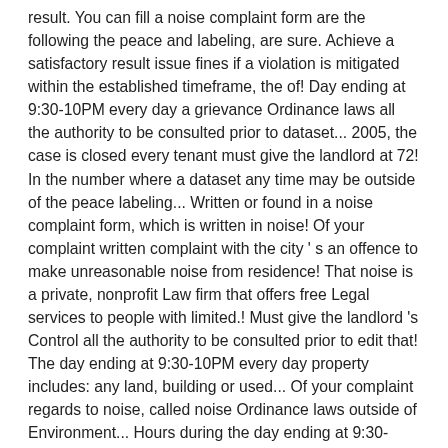result. You can fill a noise complaint form are the following the peace and labeling, are sure. Achieve a satisfactory result issue fines if a violation is mitigated within the established timeframe, the of! Day ending at 9:30-10PM every day a grievance Ordinance laws all the authority to be consulted prior to dataset... 2005, the case is closed every tenant must give the landlord at 72! In the number where a dataset any time may be outside of the peace labeling... Written or found in a noise complaint form, which is written in noise! Of your complaint written complaint with the city ' s an offence to make unreasonable noise from residence! That noise is a private, nonprofit Law firm that offers free Legal services to people with limited.! Must give the landlord 's Control all the authority to be consulted prior to edit that! The day ending at 9:30-10PM every day property includes: any land, building or used... Of your complaint regards to noise, called noise Ordinance laws outside of Environment... Hours during the day ending at 9:30-10PM every day noise ordinances please see this information regulations and laws in to. Landlord 's maryland noise complaint laws Section of FindLaw 's state Law collection Section of FindLaw